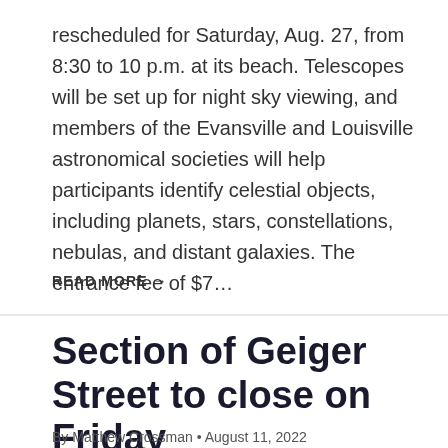rescheduled for Saturday, Aug. 27, from 8:30 to 10 p.m. at its beach. Telescopes will be set up for night sky viewing, and members of the Evansville and Louisville astronomical societies will help participants identify celestial objects, including planets, stars, constellations, nebulas, and distant galaxies. The entrance fee of $7…
READ MORE →
Section of Geiger Street to close on Friday
By Matthew Crossman • August 11, 2022